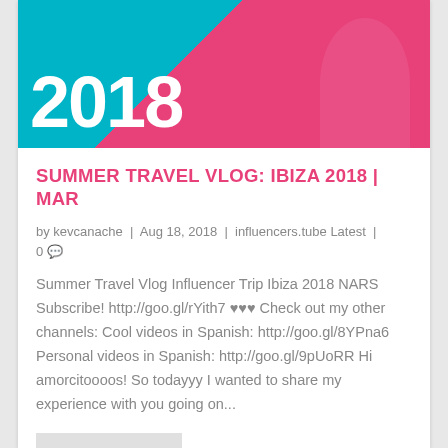[Figure (photo): Hero banner image showing '2018' in large white text over a teal and pink background with a person sitting]
SUMMER TRAVEL VLOG: IBIZA 2018 | MAR
by kevcanache | Aug 18, 2018 | influencers.tube Latest | 0 💬
Summer Travel Vlog Influencer Trip Ibiza 2018 NARS Subscribe! http://goo.gl/rYith7 ♥♥♥ Check out my other channels: Cool videos in Spanish: http://goo.gl/8YPna6 Personal videos in Spanish: http://goo.gl/9pUoRR Hi amorcitoooos! So todayyy I wanted to share my experience with you going on...
READ MORE